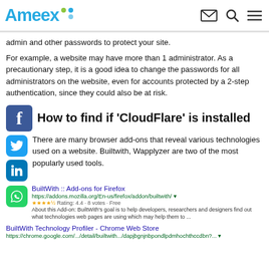Ameex
admin and other passwords to protect your site.
For example, a website may have more than 1 administrator. As a precautionary step, it is a good idea to change the passwords for all administrators on the website, even for accounts protected by a 2-step authentication, since they could also be at risk.
How to find if 'CloudFlare' is installed
There are many browser add-ons that reveal various technologies used on a website. Builtwith, Wapplyzer are two of the most popularly used tools.
BuiltWith :: Add-ons for Firefox
https://addons.mozilla.org/En-us/firefox/addon/builtwith/
★★★★½ Rating: 4.4 · 8 votes · Free
About this Add-on: BuiltWith's goal is to help developers, researchers and designers find out what technologies web pages are using which may help them to ...
BuiltWith Technology Profiler - Chrome Web Store
https://chrome.google.com/.../detail/builtwith.../dapjbgnjnbpondlpdmhochthccdbn?...